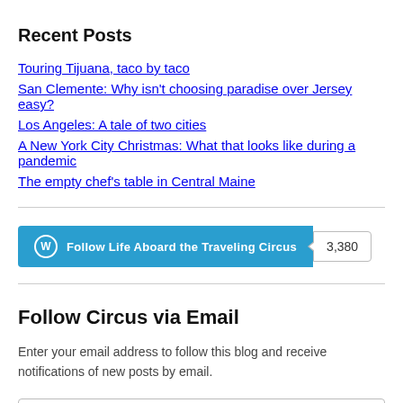Recent Posts
Touring Tijuana, taco by taco
San Clemente: Why isn't choosing paradise over Jersey easy?
Los Angeles: A tale of two cities
A New York City Christmas: What that looks like during a pandemic
The empty chef's table in Central Maine
[Figure (other): WordPress Follow button for 'Life Aboard the Traveling Circus' with follower count 3,380]
Follow Circus via Email
Enter your email address to follow this blog and receive notifications of new posts by email.
Enter your email address